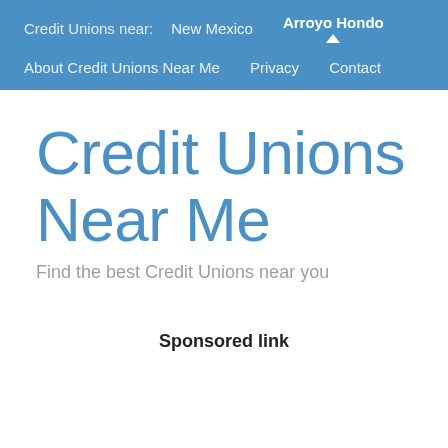Credit Unions near:   New Mexico   Arroyo Hondo
About Credit Unions Near Me   Privacy   Contact
Credit Unions Near Me
Find the best Credit Unions near you
Sponsored link